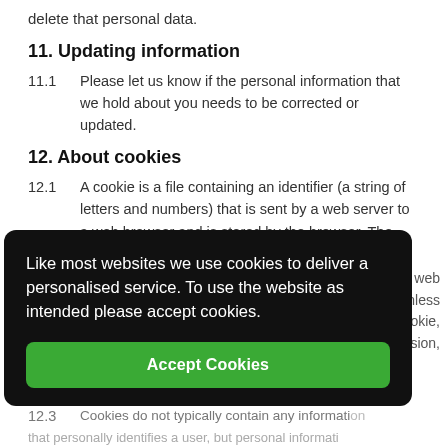delete that personal data.
11. Updating information
11.1	Please let us know if the personal information that we hold about you needs to be corrected or updated.
12. About cookies
12.1	A cookie is a file containing an identifier (a string of letters and numbers) that is sent by a web server to a web browser and is stored by the browser. The identifier is then sent back to the server each time the browser requests a page from the server.
[Figure (screenshot): Cookie consent banner overlay with dark background reading 'Like most websites we use cookies to deliver a personalised service. To use the website as intended please accept cookies.' with a green 'Accept Cookies' button]
12.3	Cookies do not typically contain any information that personally identifies a user, but personal information that we store about you may be linked to the information stored in and obtained from cookies.